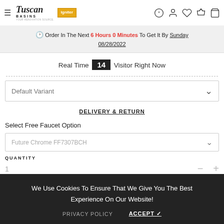Tuscan Basins — navigation header with logo and icons
Order In The Next 6 Hours 0 Minutes To Get It By Sunday 08/28/2022
Real Time 14 Visitor Right Now
Default Variant
DELIVERY & RETURN
Select Free Faucet Option
Future Chrome FF7307BCH
QUANTITY
1
We Use Cookies To Ensure That We Give You The Best Experience On Our Website!
PRIVACY POLICY
ACCEPT ✓